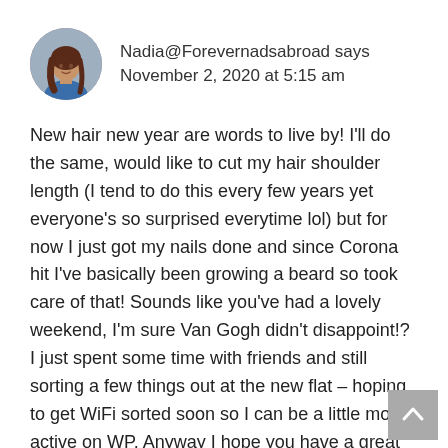[Figure (illustration): Circular avatar photo of a woman with long hair wearing a blue top, against a grey/outdoor background]
Nadia@Forevernadsabroad says
November 2, 2020 at 5:15 am
New hair new year are words to live by! I'll do the same, would like to cut my hair shoulder length (I tend to do this every few years yet everyone's so surprised everytime lol) but for now I just got my nails done and since Corona hit I've basically been growing a beard so took care of that! Sounds like you've had a lovely weekend, I'm sure Van Gogh didn't disappoint!? I just spent some time with friends and still sorting a few things out at the new flat – hoping to get WiFi sorted soon so I can be a little more active on WP. Anyway I hope you have a great week of ticking boxes off your to do list. Good thing you have Netflix and Stan to